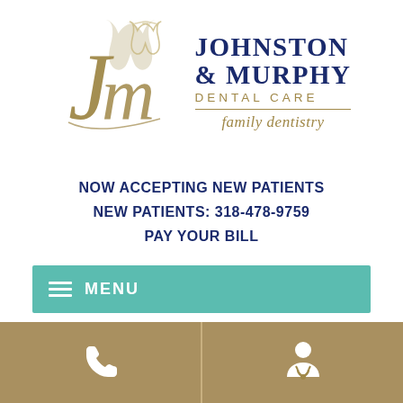[Figure (logo): Johnston & Murphy Dental Care logo with stylized JM monogram in gold/tan and text in navy blue. Includes 'family dentistry' in italic script below a decorative underline.]
NOW ACCEPTING NEW PATIENTS
NEW PATIENTS: 318-478-9759
PAY YOUR BILL
MENU
[Figure (infographic): Two gold/tan bottom buttons: left with phone icon, right with doctor/patient icon]